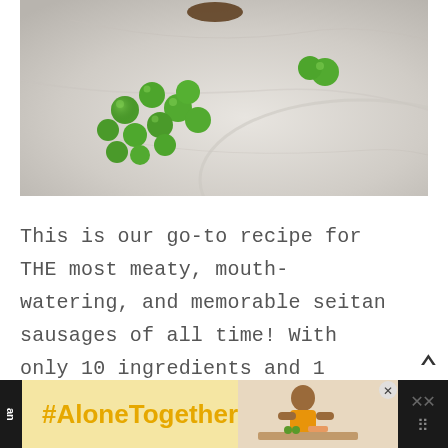[Figure (photo): Overhead photo of green peas scattered on a white marble plate surface]
This is our go-to recipe for THE most meaty, mouth-watering, and memorable seitan sausages of all time! With only 10 ingredients and 1 hour, you can make perfect vegan sausage right in your own kitchen. We love serving them atop a mountain of mashed potatoes an...
[Figure (screenshot): Advertisement banner: #AloneTogether on yellow background with image of woman cooking on the right, and dark strips on left and right edges]